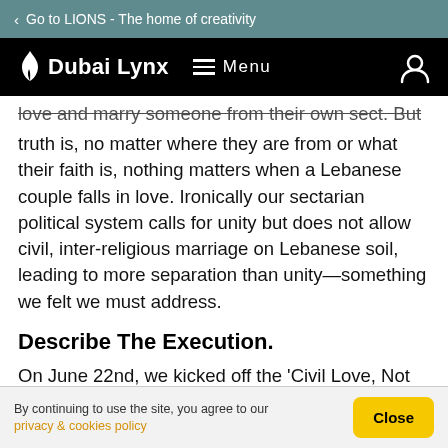Go to LIONS - The home of creativity
Dubai Lynx | Menu
love and marry someone from their own sect. But the human truth is, no matter where they are from or what their faith is, nothing matters when a Lebanese couple falls in love. Ironically our sectarian political system calls for unity but does not allow civil, inter-religious marriage on Lebanese soil, leading to more separation than unity—something we felt we must address.
Describe The Execution.
On June 22nd, we kicked off the 'Civil Love, Not Civil War' Exhibition, as art & creativity as a weapon for change is part of Absolut's DNA. We didn't only sponsor Beirut Design Week, the most recognized design and art event in the country; we also held the exhibition in Beirut's most iconic
By continuing to use the site, you agree to our privacy & cookies policy